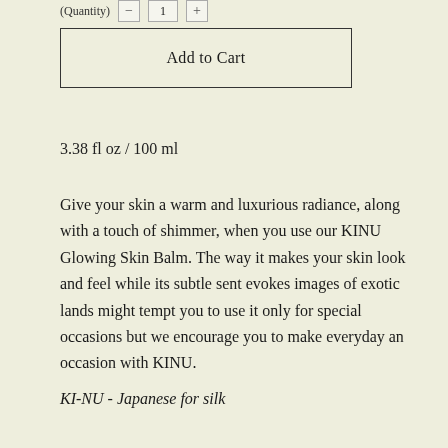(Quantity)   -  1  +
Add to Cart
3.38 fl oz / 100 ml
Give your skin a warm and luxurious radiance, along with a touch of shimmer, when you use our KINU Glowing Skin Balm. The way it makes your skin look and feel while its subtle sent evokes images of exotic lands might tempt you to use it only for special occasions but we encourage you to make everyday an occasion with KINU.
KI-NU - Japanese for silk